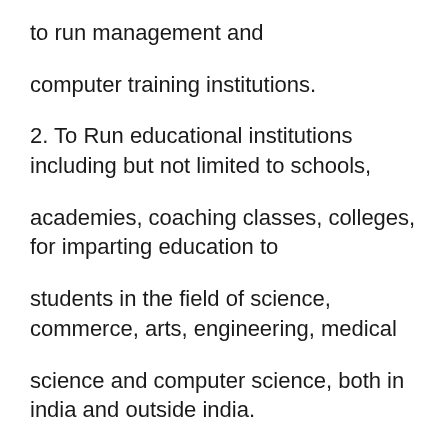to run management and computer training institutions.
2. To Run educational institutions including but not limited to schools,
academies, coaching classes, colleges, for imparting education to
students in the field of science, commerce, arts, engineering, medical
science and computer science, both in india and outside india.